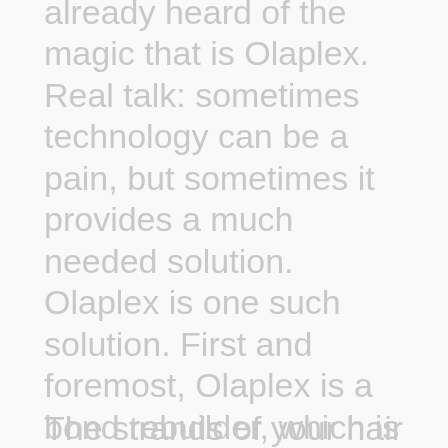already heard of the magic that is Olaplex. Real talk: sometimes technology can be a pain, but sometimes it provides a much needed solution. Olaplex is one such solution. First and foremost, Olaplex is a bond rebuilder, which is game-changing in terms of hair health and hair color. Understanding exactly what Olaplex does requires getting a bit science-y so bear with me.
The strands of your hair are